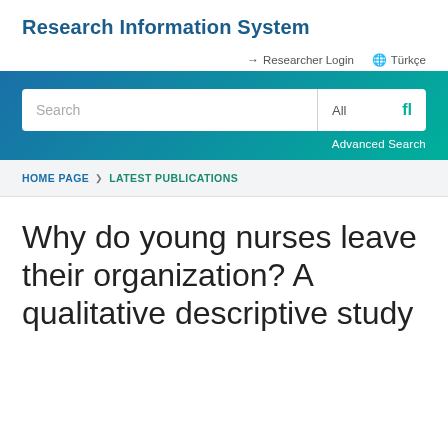Research Information System
Researcher Login   Türkçe
[Figure (screenshot): Search bar with gradient blue-green background, search input field with placeholder 'Search', All dropdown, search icon button, and Advanced Search link]
HOME PAGE  ❯  LATEST PUBLICATIONS
Why do young nurses leave their organization? A qualitative descriptive study